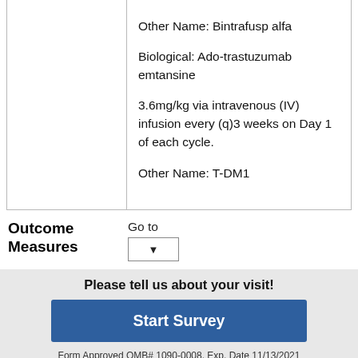|  | Other Name: Bintrafusp alfa

Biological: Ado-trastuzumab emtansine
3.6mg/kg via intravenous (IV) infusion every (q)3 weeks on Day 1 of each cycle.
Other Name: T-DM1 |
Outcome Measures
Go to
Please tell us about your visit!
Start Survey
Form Approved OMB# 1090-0008. Exp. Date 11/13/2021